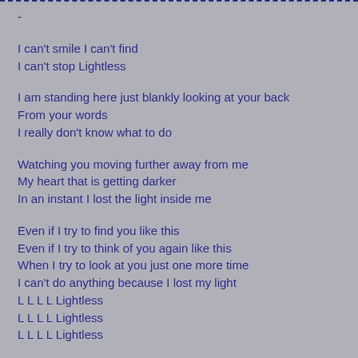-
I can't smile I can't find
I can't stop Lightless
I am standing here just blankly looking at your back
From your words
I really don't know what to do
Watching you moving further away from me
My heart that is getting darker
In an instant I lost the light inside me
Even if I try to find you like this
Even if I try to think of you again like this
When I try to look at you just one more time
I can't do anything because I lost my light
L L L L Lightless
L L L L Lightless
L L L L Lightless
L L L L Lightless